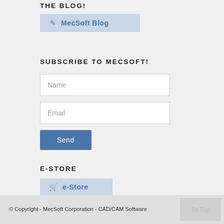THE BLOG!
✎ MecSoft Blog
SUBSCRIBE TO MECSOFT!
Name
Email
Send
E-STORE
🛒 e-Store
© Copyright - MecSoft Corporation - CAD/CAM Software
To Top